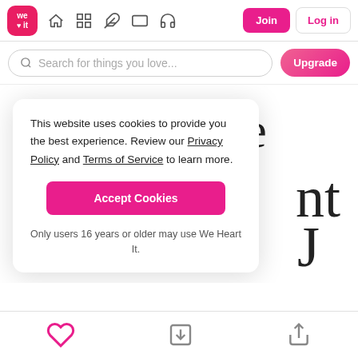We Heart It navigation bar with logo, icons, Join and Log in buttons
Search for things you love...
Never be
This website uses cookies to provide you the best experience. Review our Privacy Policy and Terms of Service to learn more.
Accept Cookies
Only users 16 years or older may use We Heart It.